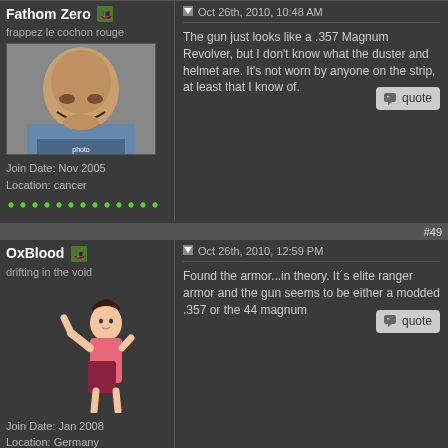Fathom Zero - frappez le cochon rouge - Join Date: Nov 2005 - Location: cancer
Oct 26th, 2010, 10:48 AM - The gun just looks like a .357 Magnum Revolver, but I don't know what the duster and helmet are. It's not worn by anyone on the strip, at least that I know of.
#49
OxBlood - drifting in the void - Join Date: Jan 2008 - Location: Germany
Oct 26th, 2010, 12:59 PM - Found the armor...in theory. It´s elite ranger armor and the gun seems to be either a modded .357 or the 44 magnum
#50
Fathom Zero - frappez le cochon rouge
Oct 26th, 2010, 01:13 PM - Mmm. Never met one of them rangers before. Also, I got a snowglobe. And blew some poor doctor's head off because he wasn't giving me market value for my